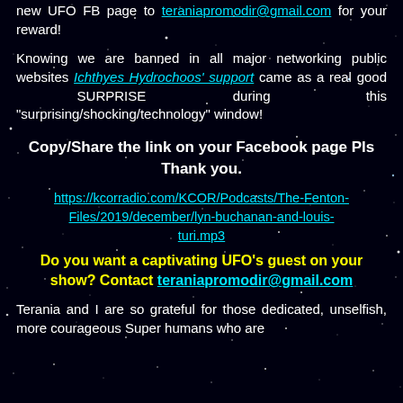new UFO FB page to teraniapromodir@gmail.com for your reward!
Knowing we are banned in all major networking public websites Ichthyes Hydrochoos' support came as a real good SURPRISE during this "surprising/shocking/technology" window!
Copy/Share the link on your Facebook page Pls Thank you.
https://kcorradio.com/KCOR/Podcasts/The-Fenton-Files/2019/december/lyn-buchanan-and-louis-turi.mp3
Do you want a captivating UFO's guest on your show? Contact teraniapromodir@gmail.com
Terania and I are so grateful for those dedicated, unselfish, more courageous Super humans who are